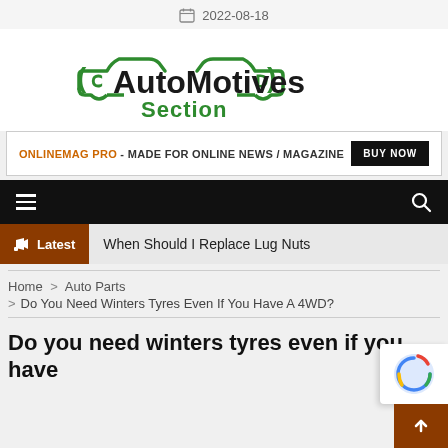2022-08-18
[Figure (logo): AutoMotives Section logo with green car silhouette outline and bold text]
ONLINEMAG PRO - MADE FOR ONLINE NEWS / MAGAZINE  BUY NOW
Latest  When Should I Replace Lug Nuts
Home > Auto Parts > Do You Need Winters Tyres Even If You Have A 4WD?
Do you need winters tyres even if you have